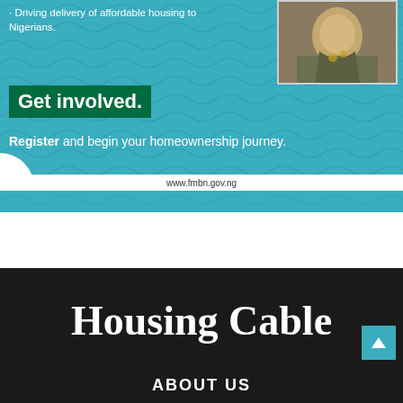Driving delivery of affordable housing to Nigerians.
[Figure (photo): Portrait photo of a person in traditional attire with gold embroidery, positioned top-right of teal banner]
Get involved.
Register and begin your homeownership journey.
www.fmbn.gov.ng
Housing Cable
ABOUT US